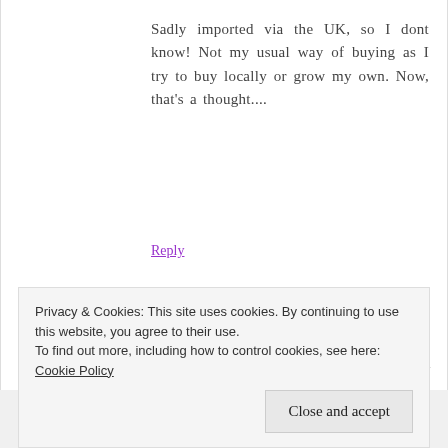Sadly imported via the UK, so I dont know! Not my usual way of buying as I try to buy locally or grow my own. Now, that's a thought....
Reply
Tandy
FEB 16, 2012 AT 7:16 AM
Privacy & Cookies: This site uses cookies. By continuing to use this website, you agree to their use.
To find out more, including how to control cookies, see here: Cookie Policy
Close and accept